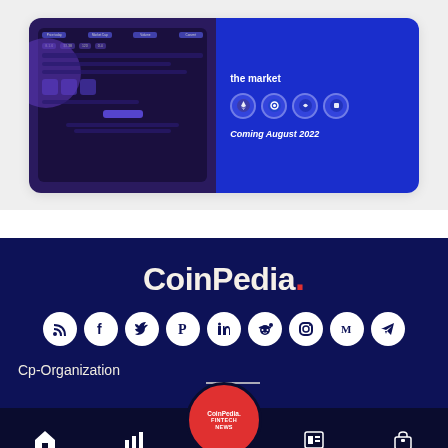[Figure (screenshot): Card showing a dark purple app screenshot on the left and a blue promotional banner on the right reading 'the market' with crypto icons and 'Coming August 2022']
[Figure (logo): CoinPedia. logo in white with a red period, on dark navy background]
[Figure (infographic): Row of 9 circular social media icons (RSS, Facebook, Twitter, Pinterest, LinkedIn, Reddit, Instagram, Medium, Telegram) in white on dark navy background]
Cp-Organization
Home | Market | CoinPedia Fintech News | News | Portfolio